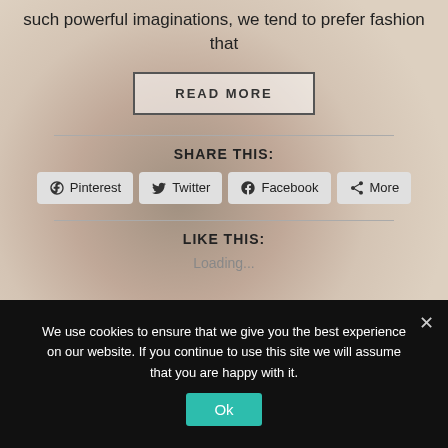[Figure (photo): Background portrait photo of a woman with dark hair and floral accessories, muted warm tones]
such powerful imaginations, we tend to prefer fashion that
READ MORE
SHARE THIS:
Pinterest
Twitter
Facebook
More
LIKE THIS:
Loading...
We use cookies to ensure that we give you the best experience on our website. If you continue to use this site we will assume that you are happy with it.
Ok